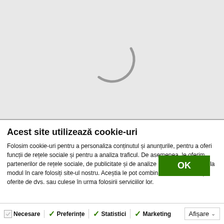[Figure (other): Loading spinner graphic — a partially drawn grey circle arc indicating a loading state, shown on a light grey background]
Acest site utilizează cookie-uri
Folosim cookie-uri pentru a personaliza conținutul și anunțurile, pentru a oferi funcții de rețele sociale și pentru a analiza traficul. De asemenea, le oferim partenerilor de rețele sociale, de publicitate și de analize informații cu privire la modul în care folosiți site-ul nostru. Aceștia le pot combina cu alte informații oferite de dvs. sau culese în urma folosirii serviciilor lor.
OK
Necesare
Preferințe
Statistici
Marketing
Afișare